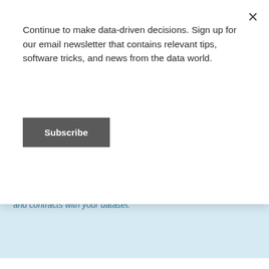Continue to make data-driven decisions. Sign up for our email newsletter that contains relevant tips, software tricks, and news from the data world.
Subscribe
being overwritten, then you'll want a table so that the table expands and contracts with your dataset.
REFERENCING TO KEEP THINGS CONNECTED
What if you can't make a chart or calculation directly from a PivotTable? For example, most versions of Excel do not allow you to make a bubble plot directly from a PivotTable. No worries, you can still keep things connected with references! Let's do it